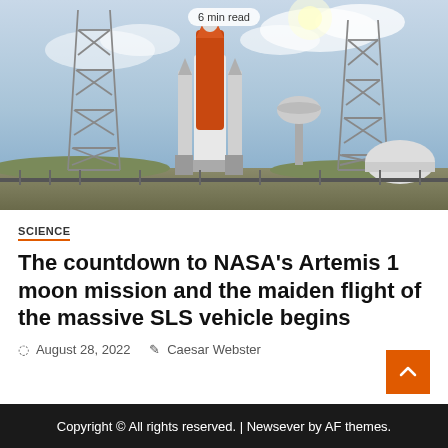[Figure (photo): NASA SLS (Space Launch System) rocket on the launch pad at Kennedy Space Center, with two large support towers visible on either side. The orange rocket is prominent against a partly cloudy sky. A water tower and a dome-shaped structure are visible in the background.]
6 min read
SCIENCE
The countdown to NASA’s Artemis 1 moon mission and the maiden flight of the massive SLS vehicle begins
August 28, 2022   Caesar Webster
Copyright © All rights reserved. | Newsever by AF themes.